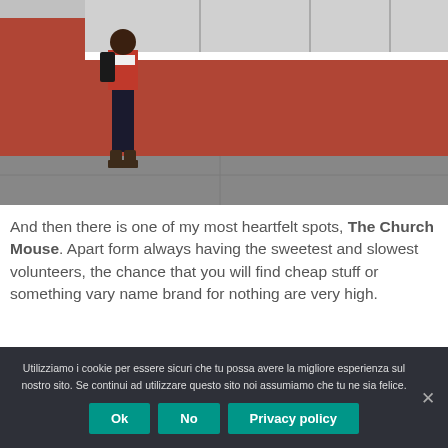[Figure (photo): A person standing on a sidewalk in front of a red/brown building storefront. The person is wearing a red plaid flannel shirt, dark jeans, boots, and a backpack. The storefront has display windows with items.]
And then there is one of my most heartfelt spots, The Church Mouse. Apart form always having the sweetest and slowest volunteers, the chance that you will find cheap stuff or something vary name brand for nothing are very high.
Utilizziamo i cookie per essere sicuri che tu possa avere la migliore esperienza sul nostro sito. Se continui ad utilizzare questo sito noi assumiamo che tu ne sia felice.